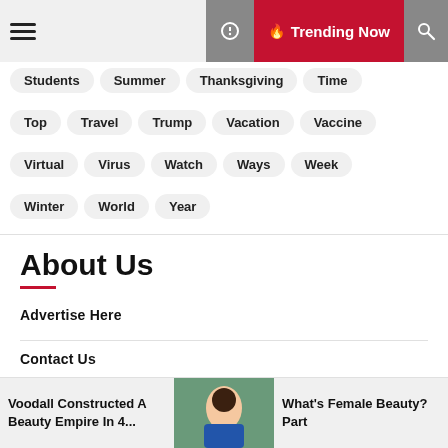Trending Now
Students
Summer
Thanksgiving
Time
Top
Travel
Trump
Vacation
Vaccine
Virtual
Virus
Watch
Ways
Week
Winter
World
Year
About Us
Advertise Here
Contact Us
Privacy Policy
Voodall Constructed A Beauty Empire In 4... | What's Female Beauty? Part